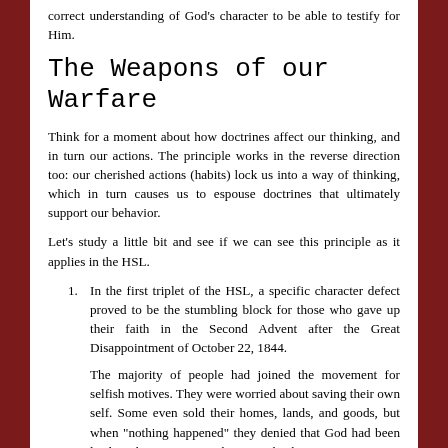correct understanding of God's character to be able to testify for Him.
The Weapons of our Warfare
Think for a moment about how doctrines affect our thinking, and in turn our actions. The principle works in the reverse direction too: our cherished actions (habits) lock us into a way of thinking, which in turn causes us to espouse doctrines that ultimately support our behavior.
Let's study a little bit and see if we can see this principle as it applies in the HSL.
In the first triplet of the HSL, a specific character defect proved to be the stumbling block for those who gave up their faith in the Second Advent after the Great Disappointment of October 22, 1844.
The majority of people had joined the movement for selfish motives. They were worried about saving their own self. Some even sold their homes, lands, and goods, but when “nothing happened” they denied that God had been leading the movement. They went back